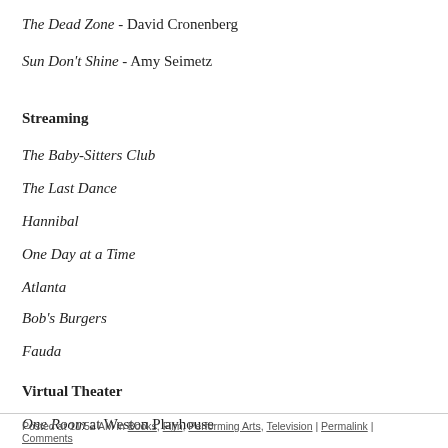The Dead Zone - David Cronenberg
Sun Don't Shine - Amy Seimetz
Streaming
The Baby-Sitters Club
The Last Dance
Hannibal
One Day at a Time
Atlanta
Bob's Burgers
Fauda
Virtual Theater
One Room at Weston Playhouse
The Keep Going Song at Actors Theatre of Louisville
The Jacksonian at The New Group
Posted at 11:52 AM in Books, Film, Performing Arts, Television | Permalink | Comments